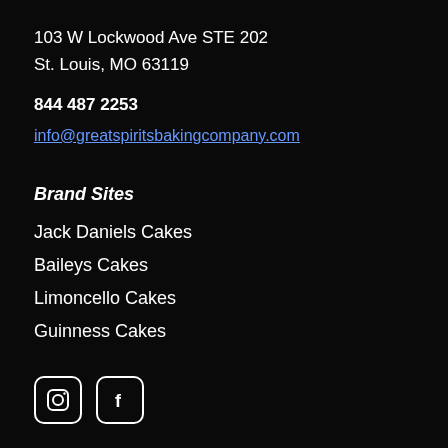103 W Lockwood Ave STE 202
St. Louis, MO 63119
844 487 2253
info@greatspiritsbakingcompany.com
Brand Sites
Jack Daniels Cakes
Baileys Cakes
Limoncello Cakes
Guinness Cakes
[Figure (illustration): Instagram and Facebook social media icons (rounded square outlines with camera and f symbols)]